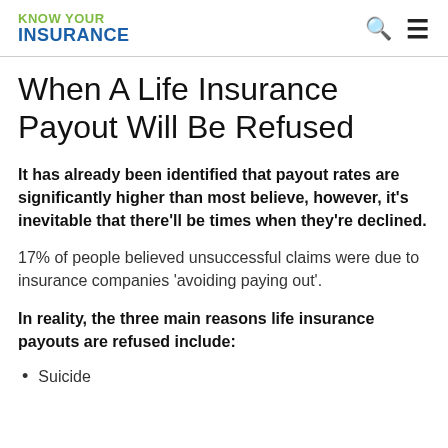KNOW YOUR INSURANCE
When A Life Insurance Payout Will Be Refused
It has already been identified that payout rates are significantly higher than most believe, however, it’s inevitable that there’ll be times when they’re declined.
17% of people believed unsuccessful claims were due to insurance companies ‘avoiding paying out’.
In reality, the three main reasons life insurance payouts are refused include:
Suicide